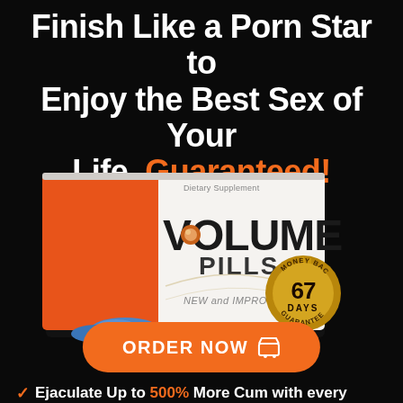Finish Like a Porn Star to Enjoy the Best Sex of Your Life, Guaranteed!
[Figure (illustration): Volume Pills product box (white and orange) with blue pill capsules in front, and a gold '67 Days Money Back Guarantee' seal badge overlapping the right side. Box reads: Dietary Supplement, VOLUME PILLS, NEW and IMPROVED.]
ORDER NOW 🛒
✓ Ejaculate Up to 500% More Cum with every